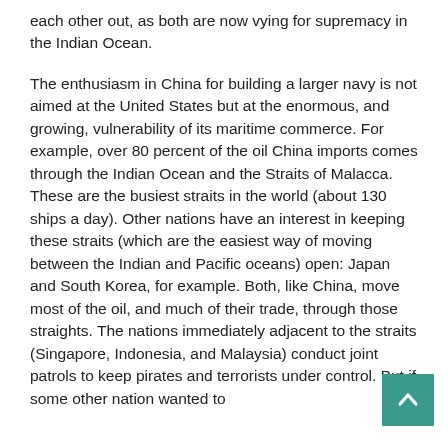each other out, as both are now vying for supremacy in the Indian Ocean.
The enthusiasm in China for building a larger navy is not aimed at the United States but at the enormous, and growing, vulnerability of its maritime commerce. For example, over 80 percent of the oil China imports comes through the Indian Ocean and the Straits of Malacca. These are the busiest straits in the world (about 130 ships a day). Other nations have an interest in keeping these straits (which are the easiest way of moving between the Indian and Pacific oceans) open: Japan and South Korea, for example. Both, like China, move most of the oil, and much of their trade, through those straights. The nations immediately adjacent to the straits (Singapore, Indonesia, and Malaysia) conduct joint patrols to keep pirates and terrorists under control. But if some other nation wanted to